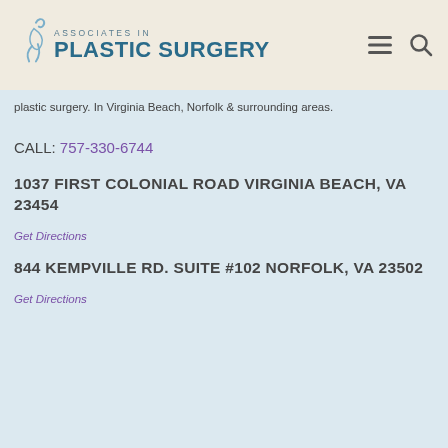[Figure (logo): Associates in Plastic Surgery logo with stylized figure icon and teal/blue text]
plastic surgery. In Virginia Beach, Norfolk & surrounding areas.
CALL: 757-330-6744
1037 FIRST COLONIAL ROAD VIRGINIA BEACH, VA 23454
Get Directions
844 KEMPVILLE RD. SUITE #102 NORFOLK, VA 23502
Get Directions